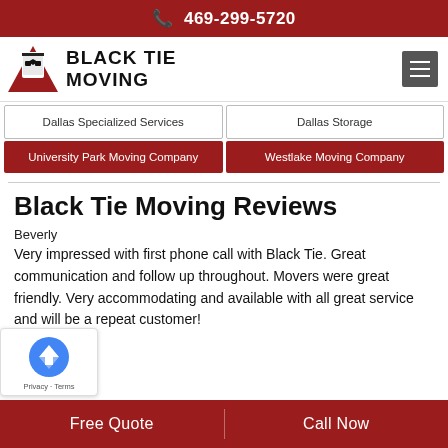469-299-5720
[Figure (logo): Black Tie Moving logo with triangular graphic and company name]
Dallas Specialized Services
Dallas Storage
University Park Moving Company
Westlake Moving Company
Black Tie Moving Reviews
Beverly
Very impressed with first phone call with Black Tie. Great communication and follow up throughout. Movers were great friendly. Very accommodating and available with all great service and will be a repeat customer!
Free Quote | Call Now